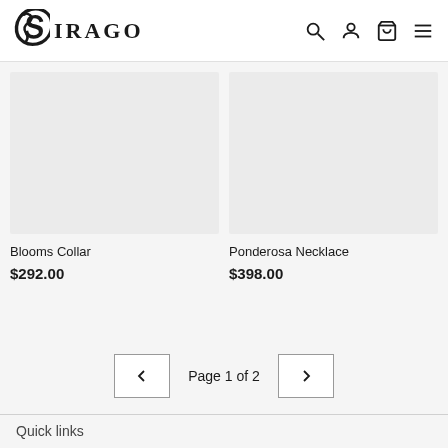SIRAGO
[Figure (photo): Product image placeholder for Blooms Collar - light gray rectangle]
Blooms Collar
$292.00
[Figure (photo): Product image placeholder for Ponderosa Necklace - light gray rectangle]
Ponderosa Necklace
$398.00
Page 1 of 2
Quick links